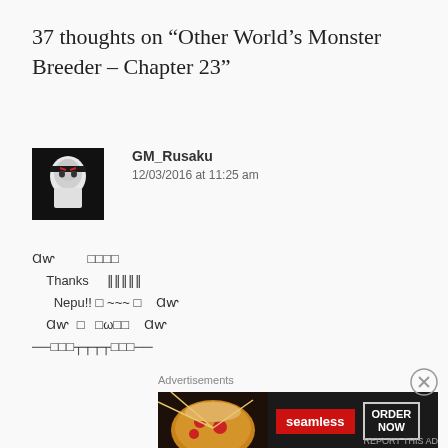37 thoughts on “Other World’s Monster Breeder – Chapter 23”
GM_Rusaku
12/03/2016 at 11:25 am
Ɑⱳ □□□□
Thanks ‖‖‖‖‖
Nepu!! □ ~~~ □ Ɑⱳ
Ɑⱳ □ □ω□□ Ɑⱳ
──□□□┬┬┬┬□□□──
Advertisements
[Figure (photo): Seamless food ordering advertisement banner showing pizza image on left, red Seamless button in center, and ORDER NOW button on right, dark background]